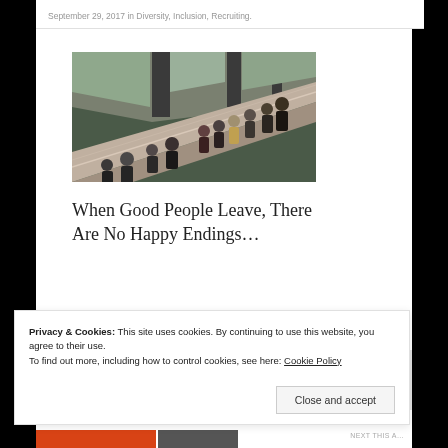September 29, 2017 in Diversity, Inclusion, Recruiting.
[Figure (photo): Aerial view of a group of people on escalators in what appears to be a transit station or public building, taken from above at an angle.]
When Good People Leave, There Are No Happy Endings…
Privacy & Cookies: This site uses cookies. By continuing to use this website, you agree to their use.
To find out more, including how to control cookies, see here: Cookie Policy
Close and accept